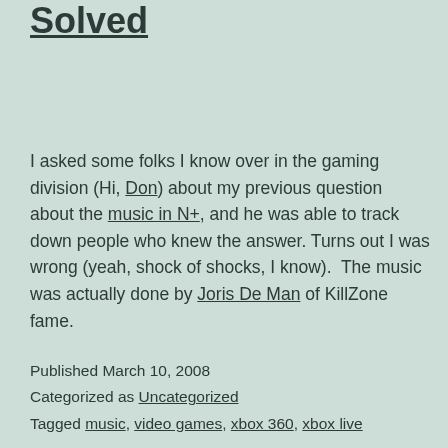N+ Music Problem Solved
I asked some folks I know over in the gaming division (Hi, Don) about my previous question about the music in N+, and he was able to track down people who knew the answer. Turns out I was wrong (yeah, shock of shocks, I know).  The music was actually done by Joris De Man of KillZone fame.
Published March 10, 2008
Categorized as Uncategorized
Tagged music, video games, xbox 360, xbox live